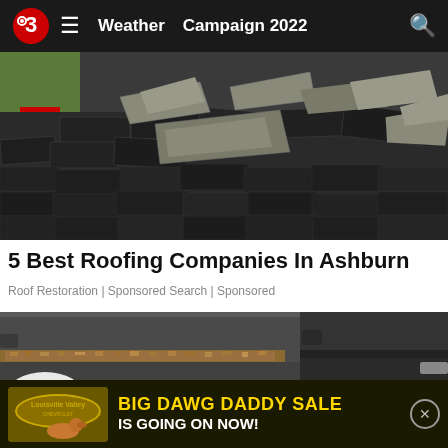Weather  Campaign 2022
[Figure (photo): Damaged roof with lifted and broken dark shingles, showing exposed underlayment. A suburban street with cars and trees is visible in the upper left corner.]
5 Best Roofing Companies In Ashburn
Roof Restoration | Sponsored Search | Sponsored
[Figure (photo): Close-up of a dirty car roof/door area with rust-colored debris in the gap. A second dark vehicle is visible on the right side.]
BIG DAWG DADDY SALE IS GOING ON NOW!